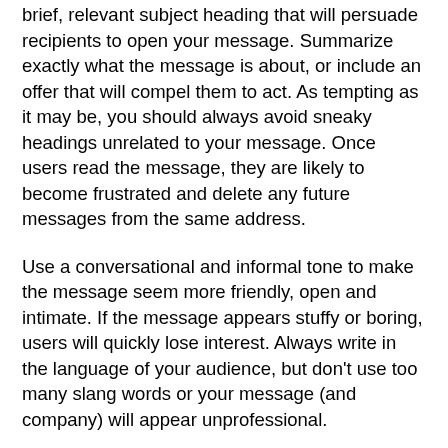brief, relevant subject heading that will persuade recipients to open your message. Summarize exactly what the message is about, or include an offer that will compel them to act. As tempting as it may be, you should always avoid sneaky headings unrelated to your message. Once users read the message, they are likely to become frustrated and delete any future messages from the same address.
Use a conversational and informal tone to make the message seem more friendly, open and intimate. If the message appears stuffy or boring, users will quickly lose interest. Always write in the language of your audience, but don't use too many slang words or your message (and company) will appear unprofessional.
Keep the message short and sweet. Get to the main points quickly as you can flesh out the important details afterwards. Make sure your message is clear and all pertinent details (i.e., price, ordering instructions, product specifications, etc.) are easy to locate. In the age of the soundbite, most users lose interest if your message takes too long to comprehend.